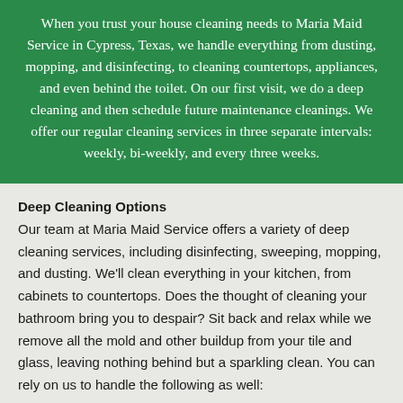When you trust your house cleaning needs to Maria Maid Service in Cypress, Texas, we handle everything from dusting, mopping, and disinfecting, to cleaning countertops, appliances, and even behind the toilet. On our first visit, we do a deep cleaning and then schedule future maintenance cleanings. We offer our regular cleaning services in three separate intervals: weekly, bi-weekly, and every three weeks.
Deep Cleaning Options
Our team at Maria Maid Service offers a variety of deep cleaning services, including disinfecting, sweeping, mopping, and dusting. We'll clean everything in your kitchen, from cabinets to countertops. Does the thought of cleaning your bathroom bring you to despair? Sit back and relax while we remove all the mold and other buildup from your tile and glass, leaving nothing behind but a sparkling clean. You can rely on us to handle the following as well: